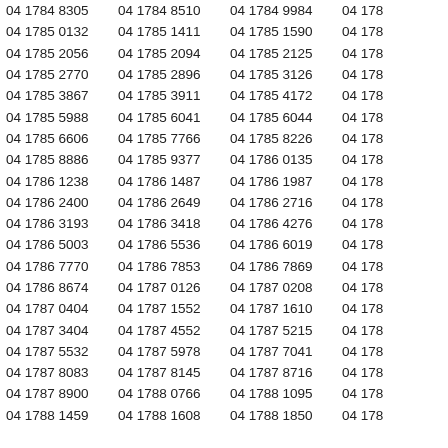| 04 1784 8305 | 04 1784 8510 | 04 1784 9984 | 04 178… |
| 04 1785 0132 | 04 1785 1411 | 04 1785 1590 | 04 178… |
| 04 1785 2056 | 04 1785 2094 | 04 1785 2125 | 04 178… |
| 04 1785 2770 | 04 1785 2896 | 04 1785 3126 | 04 178… |
| 04 1785 3867 | 04 1785 3911 | 04 1785 4172 | 04 178… |
| 04 1785 5988 | 04 1785 6041 | 04 1785 6044 | 04 178… |
| 04 1785 6606 | 04 1785 7766 | 04 1785 8226 | 04 178… |
| 04 1785 8886 | 04 1785 9377 | 04 1786 0135 | 04 178… |
| 04 1786 1238 | 04 1786 1487 | 04 1786 1987 | 04 178… |
| 04 1786 2400 | 04 1786 2649 | 04 1786 2716 | 04 178… |
| 04 1786 3193 | 04 1786 3418 | 04 1786 4276 | 04 178… |
| 04 1786 5003 | 04 1786 5536 | 04 1786 6019 | 04 178… |
| 04 1786 7770 | 04 1786 7853 | 04 1786 7869 | 04 178… |
| 04 1786 8674 | 04 1787 0126 | 04 1787 0208 | 04 178… |
| 04 1787 0404 | 04 1787 1552 | 04 1787 1610 | 04 178… |
| 04 1787 3404 | 04 1787 4552 | 04 1787 5215 | 04 178… |
| 04 1787 5532 | 04 1787 5978 | 04 1787 7041 | 04 178… |
| 04 1787 8083 | 04 1787 8145 | 04 1787 8716 | 04 178… |
| 04 1787 8900 | 04 1788 0766 | 04 1788 1095 | 04 178… |
| 04 1788 1459 | 04 1788 1608 | 04 1788 1850 | 04 178… |